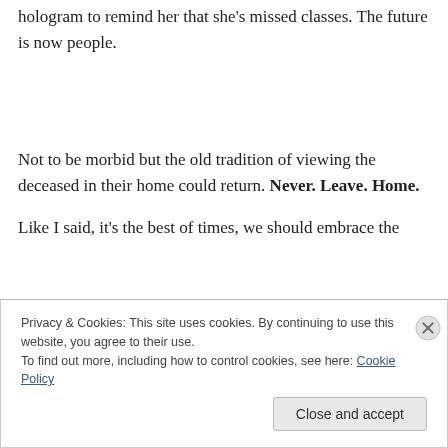hologram to remind her that she's missed classes. The future is now people.
Not to be morbid but the old tradition of viewing the deceased in their home could return. Never. Leave. Home.
Like I said, it's the best of times, we should embrace the
Privacy & Cookies: This site uses cookies. By continuing to use this website, you agree to their use.
To find out more, including how to control cookies, see here: Cookie Policy
Close and accept